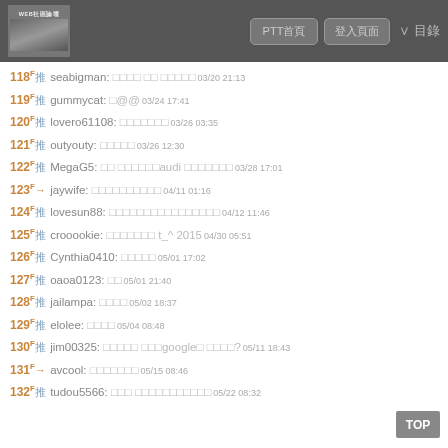PTT首頁 登入頁面
118 F推 seabigman: 推文內容 03/20 21:13
119 F推 gummycat: 推文內容 03/24 17:41
120 F推 lovero61108: 推文內容 03/26 03:35
121 F推 outyouty: 推文內容 03/26 12:30
122 F推 MegaG5: 推文內容audi 推文內容 03/28 17:01
123 F→ jaywife: 推文內容 04/11 01:16
124 F推 lovesun88: 推文內容 04/12 11:46
125 F推 crooookie: 推文內容 t_^ 2015 04/30 05:51
126 F推 Cynthia0410: 推文內容 05/01 17:02
127 F推 oaoa0123: 推文 05/01 21:40
128 F推 jailampa: 推文內容 05/02 18:37
129 F推 elolee: 推文內容 05/04 08:48
130 F推 jim00325: 推文內容 推文google搜尋 推文? 05/11 18:43
131 F→ avcool: 推文內容 05/15 08:46
132 F推 tudou5566: 推文 推文內容 05/22 08:32